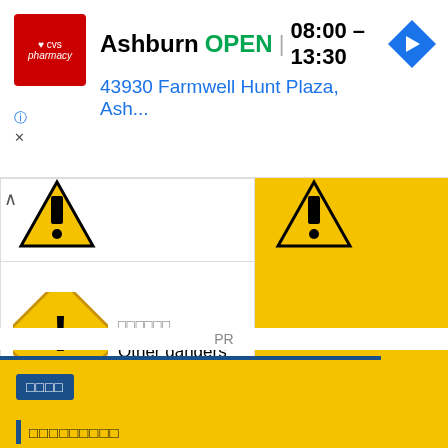[Figure (screenshot): CVS Pharmacy advertisement banner showing Ashburn location OPEN 08:00-13:30 at 43930 Farmwell Hunt Plaza, Ash... with navigation arrow icon]
[Figure (screenshot): Two sections showing yellow GHS hazard warning diamond signs for 'Other dangers' category, with text in multiple languages]
PR
[Figure (screenshot): Bottom yellow section with blue button showing symbols and a text row with blue vertical bar and symbol text]